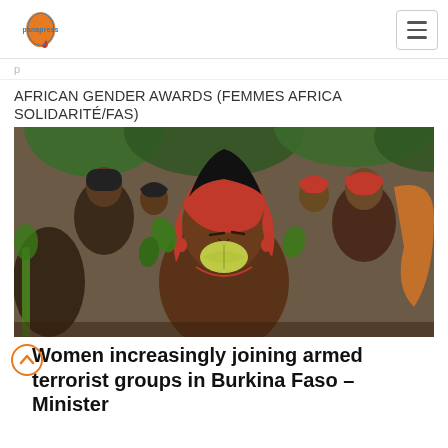panapress
AFRICAN GENDER AWARDS (FEMMES AFRICA SOLIDARITÉ/FAS)
[Figure (photo): Group of African women in traditional protest attire, with red head wraps, green leaves, and red accessories. A woman in the foreground holds a large leaf in her mouth.]
Women increasingly joining armed terrorist groups in Burkina Faso – Minister